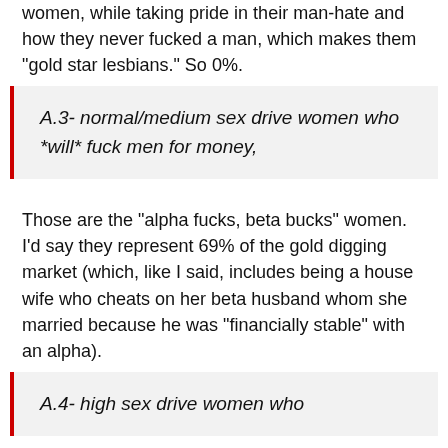women, while taking pride in their man-hate and how they never fucked a man, which makes them "gold star lesbians." So 0%.
A.3- normal/medium sex drive women who *will* fuck men for money,
Those are the "alpha fucks, beta bucks" women. I'd say they represent 69% of the gold digging market (which, like I said, includes being a house wife who cheats on her beta husband whom she married because he was "financially stable" with an alpha).
A.4- high sex drive women who